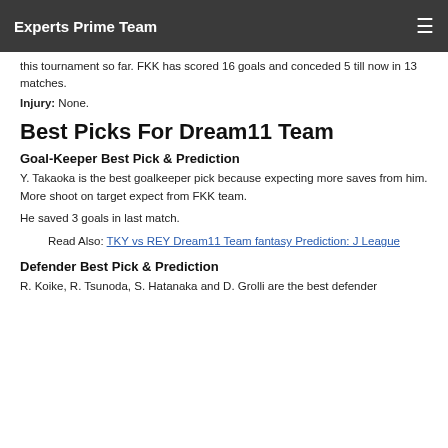Experts Prime Team
this tournament so far. FKK has scored 16 goals and conceded 5 till now in 13 matches.
Injury: None.
Best Picks For Dream11 Team
Goal-Keeper Best Pick & Prediction
Y. Takaoka is the best goalkeeper pick because expecting more saves from him. More shoot on target expect from FKK team.
He saved 3 goals in last match.
Read Also: TKY vs REY Dream11 Team fantasy Prediction: J League
Defender Best Pick & Prediction
R. Koike, R. Tsunoda, S. Hatanaka and D. Grolli are the best defender